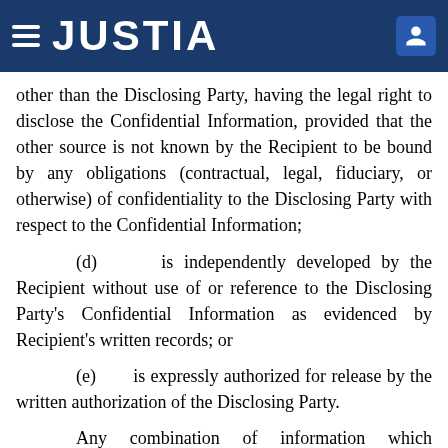JUSTIA
other than the Disclosing Party, having the legal right to disclose the Confidential Information, provided that the other source is not known by the Recipient to be bound by any obligations (contractual, legal, fiduciary, or otherwise) of confidentiality to the Disclosing Party with respect to the Confidential Information;
(d) is independently developed by the Recipient without use of or reference to the Disclosing Party's Confidential Information as evidenced by Recipient's written records; or
(e) is expressly authorized for release by the written authorization of the Disclosing Party.
Any combination of information which comprises part of the Confidential Information are not exempt from the obligations of confidentiality merely because